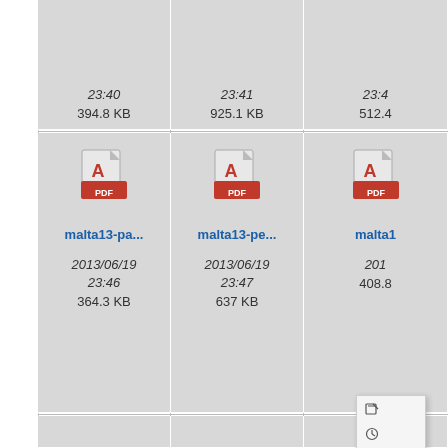[Figure (screenshot): File browser grid showing PDF file icons with filenames, dates, and file sizes. Top partial row shows three files with dates 23:40/394.8 KB, 23:41/925.1 KB, 23:4.../512.4... Row 2 shows malta13-pa... (2013/06/19 23:46, 364.3 KB), malta13-pe... (2013/06/19 23:47, 637 KB), malta13... (2013/06/19, 408.8...) with a context menu overlay showing edit/clock/link icons. Bottom partial row shows malta13-sa..., malta13-sa..., malta13... file icons.]